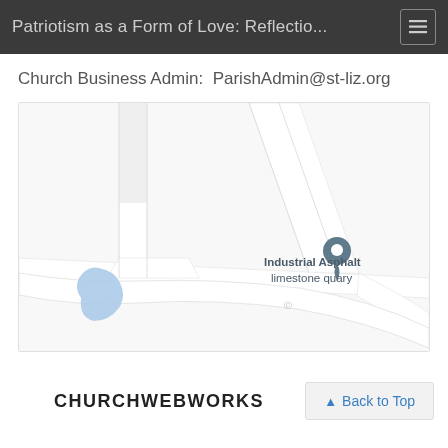Patriotism as a Form of Love: Reflectio...
Church Business Admin:  ParishAdmin@st-liz.org
[Figure (map): Street map showing Industrial Asphalt limestone quary location with a map pin marker, and a blue water body feature in the lower-left area. Roads visible in gray on white/light gray background.]
CHURCHWEBWORKS
Back to Top